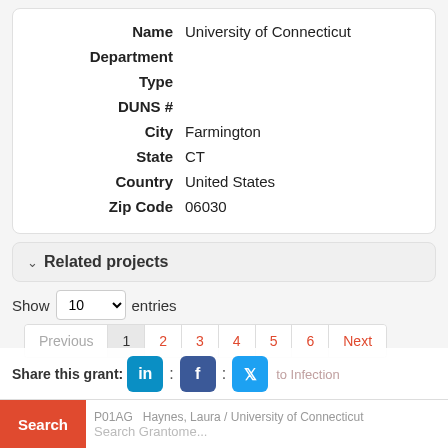| Field | Value |
| --- | --- |
| Name | University of Connecticut |
| Department |  |
| Type |  |
| DUNS # |  |
| City | Farmington |
| State | CT |
| Country | United States |
| Zip Code | 06030 |
Related projects
Show 10 entries
Previous  1  2  3  4  5  6  Next
Share this grant:
to Infection
P01AG   Haynes, Laura / University of Connecticut
Search Grantome...